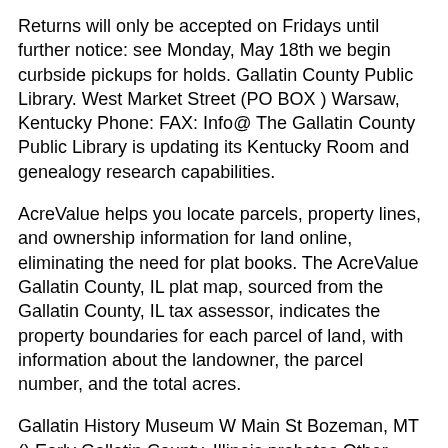Returns will only be accepted on Fridays until further notice: see Monday, May 18th we begin curbside pickups for holds. Gallatin County Public Library. West Market Street (PO BOX ) Warsaw, Kentucky Phone: FAX: Info@ The Gallatin County Public Library is updating its Kentucky Room and genealogy research capabilities.
AcreValue helps you locate parcels, property lines, and ownership information for land online, eliminating the need for plat books. The AcreValue Gallatin County, IL plat map, sourced from the Gallatin County, IL tax assessor, indicates the property boundaries for each parcel of land, with information about the landowner, the parcel number, and the total acres.
Gallatin History Museum W Main St Bozeman, MT () Early Gallatin County, Illinois probates Other Libraries (WorldCat) and FHL book P2s; Early Saline County, Illinois court records administrator's records, books B-F. Some of the early Saline estates may be located in Gallatin County.
Other Libraries (WorldCat) and FHL book. Book an Event for Check availability of facility & Sign...